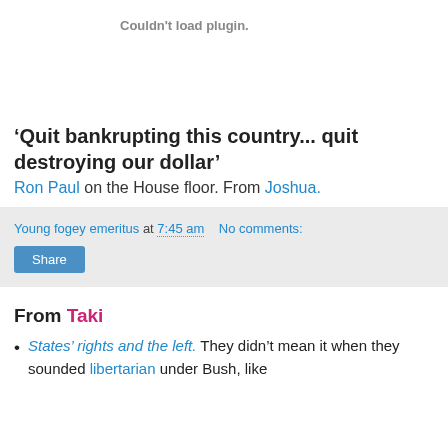Couldn't load plugin.
‘Quit bankrupting this country... quit destroying our dollar’
Ron Paul on the House floor. From Joshua.
Young fogey emeritus at 7:45 am   No comments:
Share
From Taki
States’ rights and the left. They didn’t mean it when they sounded libertarian under Bush, like